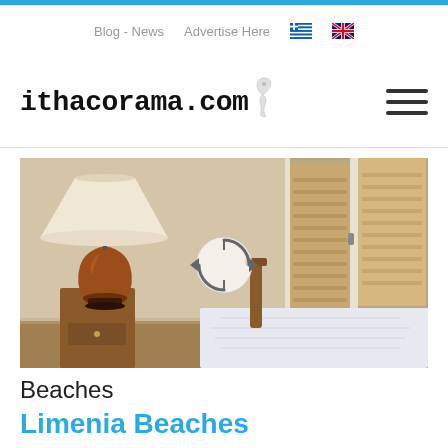Blog - News   Advertise Here
ithacorama.com
[Figure (photo): Interior photo of a room with a wooden lamp with white shade on a table, a wooden vase/jug, and white shuttered windows in the background. A circular navigation/360 icon is overlaid in the center.]
Beaches
Limenia Beaches